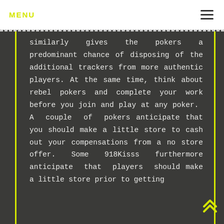MENU
similarly gives the pokers a predominant chance of disposing of the additional trackers from more authentic players. At the same time, think about rebel pokers and complete your work before you join and play at any poker. A couple of pokers anticipate that you should make a little store to cash out your compensations from a no store offer. Some 918Kisss furthermore anticipate that players should make a little store prior to getting